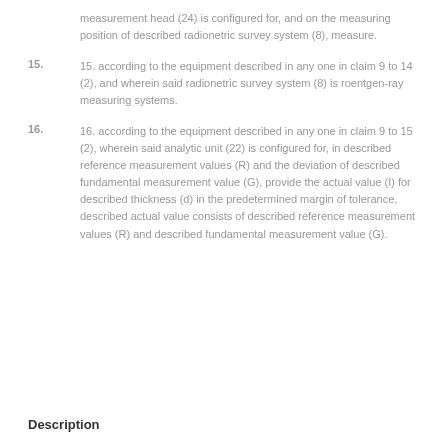measurement head (24) is configured for, and on the measuring position of described radionetric survey system (8), measure.
15. according to the equipment described in any one in claim 9 to 14 (2), and wherein said radionetric survey system (8) is roentgen-ray measuring systems.
16. according to the equipment described in any one in claim 9 to 15 (2), wherein said analytic unit (22) is configured for, in described reference measurement values (R) and the deviation of described fundamental measurement value (G), provide the actual value (I) for described thickness (d) in the predetermined margin of tolerance, described actual value consists of described reference measurement values (R) and described fundamental measurement value (G).
Description